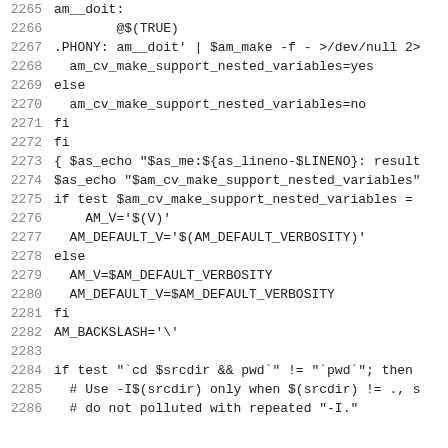Code listing lines 2265-2286, shell/Makefile script content